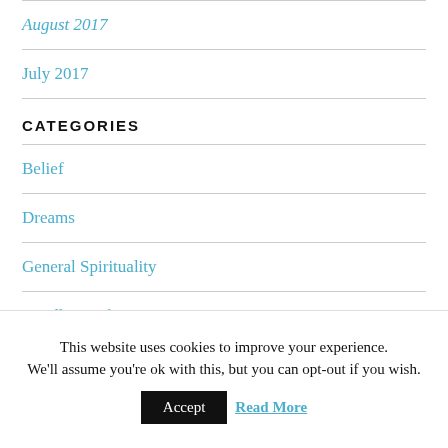August 2017
July 2017
CATEGORIES
Belief
Dreams
General Spirituality
Handling Life
This website uses cookies to improve your experience. We'll assume you're ok with this, but you can opt-out if you wish. Accept Read More